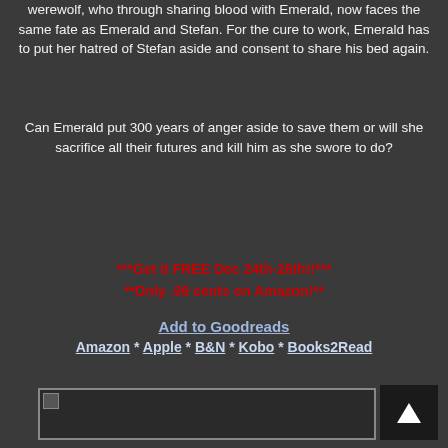werewolf, who through sharing blood with Emerald, now faces the same fate as Emerald and Stefan. For the cure to work, Emerald has to put her hatred of Stefan aside and consent to share his bed again.
Can Emerald put 300 years of anger aside to save them or will she sacrifice all their futures and kill him as she swore to do?
***Get it FREE Dec 24th-26th!!*** **Only .99 cents on Amazon!**
Add to Goodreads
Amazon * Apple * B&N * Kobo * Books2Read
[Figure (other): Broken image placeholder with small image icon in top-left corner]